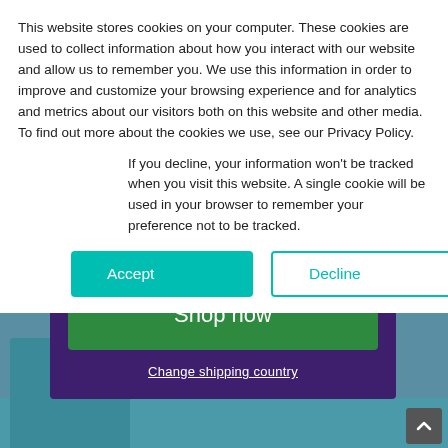This website stores cookies on your computer. These cookies are used to collect information about how you interact with our website and allow us to remember you. We use this information in order to improve and customize your browsing experience and for analytics and metrics about our visitors both on this website and other media. To find out more about the cookies we use, see our Privacy Policy.
If you decline, your information won't be tracked when you visit this website. A single cookie will be used in your browser to remember your preference not to be tracked.
Accept
Decline
Shop now
Change shipping country